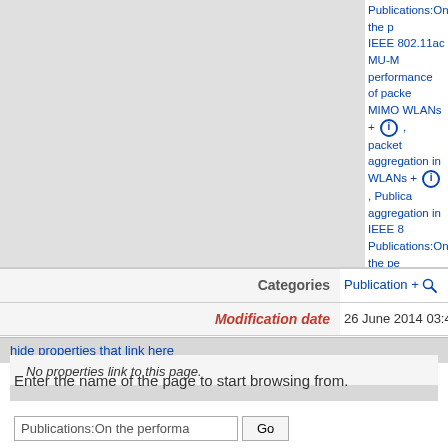| Property | Value |
| --- | --- |
| Categories | Publication + 🔍 |
| Modification date | 26 June 2014 03:40:1 |
Publications:On the performance of packet aggregation in IEEE 802.11ac MU-MIMO WLANs + ⓘ , packet aggregation in WLANs + ⓘ , Publications:aggregation in IEEE 8... Publications:On the performance of packet aggregation in IEEE 802.11ac MU-MIMO WLANs + ⓘ
hide properties that link here
No properties link to this page.
Enter the name of the page to start browsing from.
Publications:On the performa  Go